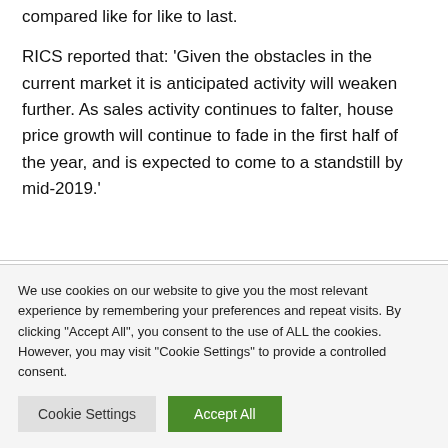compared like for like to last.
RICS reported that: 'Given the obstacles in the current market it is anticipated activity will weaken further. As sales activity continues to falter, house price growth will continue to fade in the first half of the year, and is expected to come to a standstill by mid-2019.'
We use cookies on our website to give you the most relevant experience by remembering your preferences and repeat visits. By clicking "Accept All", you consent to the use of ALL the cookies. However, you may visit "Cookie Settings" to provide a controlled consent.